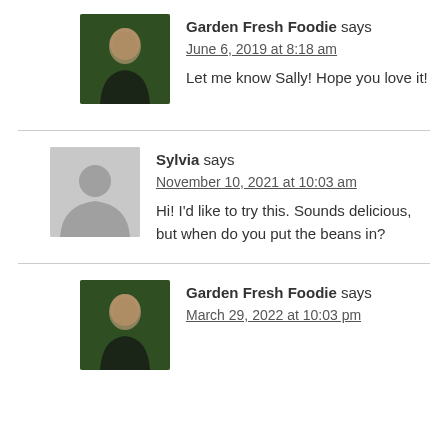Garden Fresh Foodie says
June 6, 2019 at 8:18 am
Let me know Sally! Hope you love it!
Sylvia says
November 10, 2021 at 10:03 am
Hi! I'd like to try this. Sounds delicious, but when do you put the beans in?
Garden Fresh Foodie says
March 29, 2022 at 10:03 pm